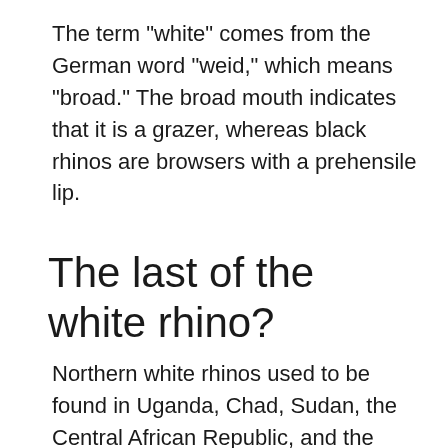The term "white" comes from the German word "weid," which means "broad." The broad mouth indicates that it is a grazer, whereas black rhinos are browsers with a prehensile lip.
The last of the white rhino?
Northern white rhinos used to be found in Uganda, Chad, Sudan, the Central African Republic, and the Democratic Republic of Congo. Northern white rhino populations